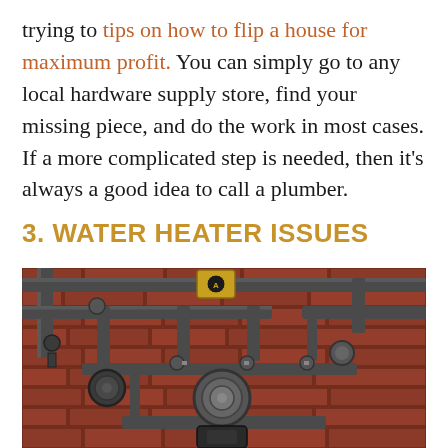trying to tips on how to flip a house for maximum profit. You can simply go to any local hardware supply store, find your missing piece, and do the work in most cases. If a more complicated step is needed, then it's always a good idea to call a plumber.
3. WATER HEATER ISSUES
[Figure (photo): Photo of industrial pipes and valves mounted on a red brick wall, showing a complex plumbing system with multiple large pipes, elbow joints, a circular valve/pump assembly in the center, and a yellow warning label on a box at the top center.]